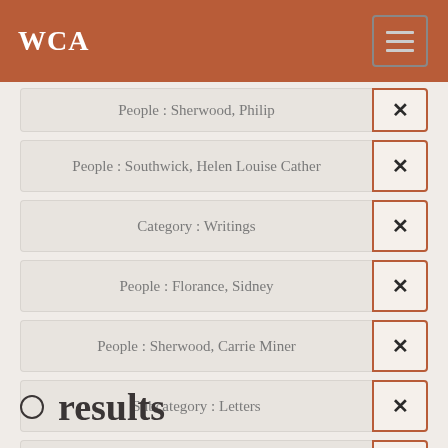WCA
People : Sherwood, Philip ×
People : Southwick, Helen Louise Cather ×
Category : Writings ×
People : Florance, Sidney ×
People : Sherwood, Carrie Miner ×
Subcategory : Letters ×
Places : New York, New York, United States ×
○ results